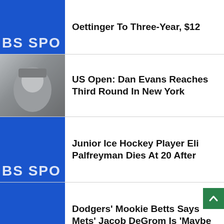Oettinger To Three-Year, $12
[Figure (photo): CBS Sports logo blue tile - partial top]
US Open: Dan Evans Reaches Third Round In New York
[Figure (photo): Photo of Dan Evans looking up at sky]
Junior Ice Hockey Player Eli Palfreyman Dies At 20 After
[Figure (logo): CBS Sports logo blue tile]
Dodgers' Mookie Betts Says Mets' Jacob DeGrom Is 'Maybe
[Figure (logo): CBS Sports logo blue tile]
US Open: Iga Swiatek Beats Sloane Stephens To Reach Third
[Figure (photo): Photo of Iga Swiatek wearing black cap]